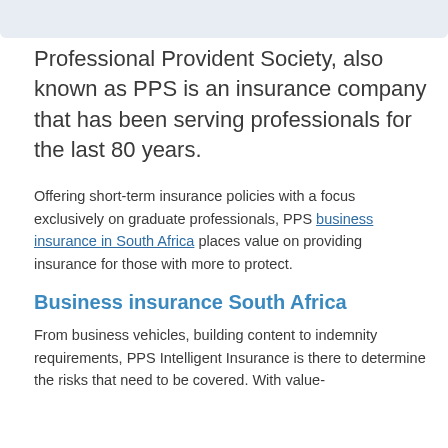Professional Provident Society, also known as PPS is an insurance company that has been serving professionals for the last 80 years.
Offering short-term insurance policies with a focus exclusively on graduate professionals, PPS business insurance in South Africa places value on providing insurance for those with more to protect.
Business insurance South Africa
From business vehicles, building content to indemnity requirements, PPS Intelligent Insurance is there to determine the risks that need to be covered. With value-added services, PPS Business Insurance ensures...